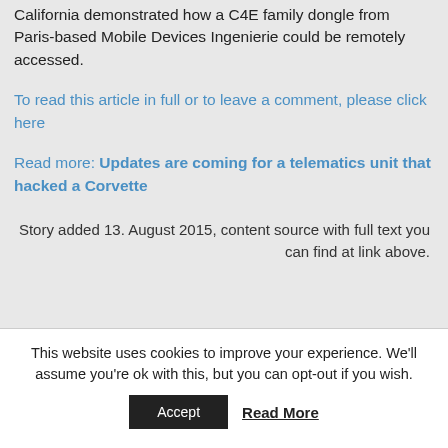California demonstrated how a C4E family dongle from Paris-based Mobile Devices Ingenierie could be remotely accessed.
To read this article in full or to leave a comment, please click here
Read more: Updates are coming for a telematics unit that hacked a Corvette
Story added 13. August 2015, content source with full text you can find at link above.
This website uses cookies to improve your experience. We'll assume you're ok with this, but you can opt-out if you wish.
Accept | Read More